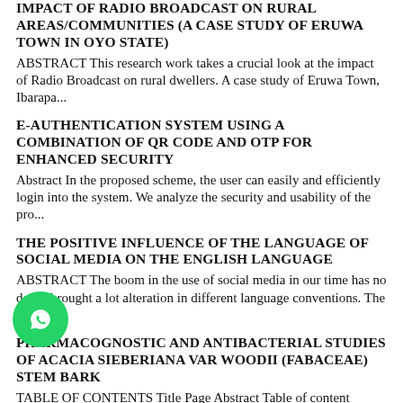IMPACT OF RADIO BROADCAST ON RURAL AREAS/COMMUNITIES (A CASE STUDY OF ERUWA TOWN IN OYO STATE)
ABSTRACT This research work takes a crucial look at the impact of Radio Broadcast on rural dwellers. A case study of Eruwa Town, Ibarapa...
E-AUTHENTICATION SYSTEM USING A COMBINATION OF QR CODE AND OTP FOR ENHANCED SECURITY
Abstract In the proposed scheme, the user can easily and efficiently login into the system. We analyze the security and usability of the pro...
THE POSITIVE INFLUENCE OF THE LANGUAGE OF SOCIAL MEDIA ON THE ENGLISH LANGUAGE
ABSTRACT The boom in the use of social media in our time has no doubt brought a lot alteration in different language conventions. The ea...
PHARMACOGNOSTIC AND ANTIBACTERIAL STUDIES OF ACACIA SIEBERIANA VAR WOODII (FABACEAE) STEM BARK
TABLE OF CONTENTS Title Page Abstract Table of content Abbreviations, Symbols and Glossaries CHAPTER ONE 1.0 IN...
CRIME RATE PREDICTION SYSTEM
Abstract To be better prepared to respond to criminal activity, it is important to understand patterns in crime. In our project, we